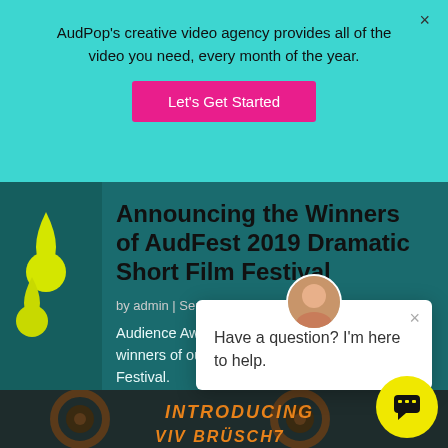AudPop's creative video agency provides all of the video you need, every month of the year.
Let's Get Started
Announcing the Winners of AudFest 2019 Dramatic Short Film Festival
by admin | Sep 30, 2019
Audience Awards is proud to announce the winners of our 2019 Dramatic Shorts Film Festival.
Have a question? I'm here to help.
[Figure (photo): Film reel image with text overlay 'INTRODUCING VIV BRÜSCH7' in orange italic letters]